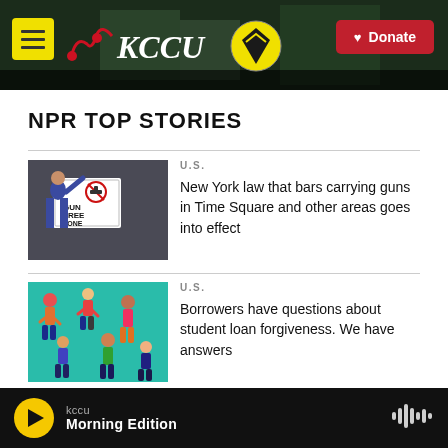KCCU | Donate
NPR TOP STORIES
[Figure (photo): Person posting a GUN FREE ZONE sign on a wall]
U.S.
New York law that bars carrying guns in Time Square and other areas goes into effect
[Figure (illustration): Colorful illustration of people figures on teal background, representing student loan borrowers]
U.S.
Borrowers have questions about student loan forgiveness. We have answers
kccu | Morning Edition